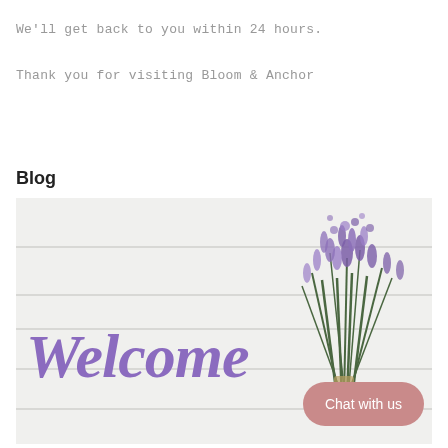We'll get back to you within 24 hours.
Thank you for visiting Bloom & Anchor
Blog
[Figure (photo): Photo of a white painted wood plank background with a bouquet of purple lavender in the upper right, and a purple script 'Welcome' sign in the center-left. A pink rounded button reads 'Chat with us' in the lower right.]